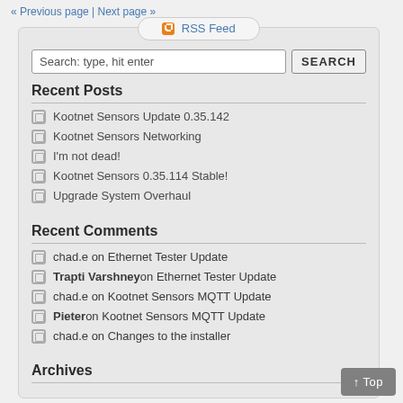« Previous page | Next page »
[Figure (other): RSS Feed button with orange RSS icon]
Search: type, hit enter  SEARCH
Recent Posts
Kootnet Sensors Update 0.35.142
Kootnet Sensors Networking
I'm not dead!
Kootnet Sensors 0.35.114 Stable!
Upgrade System Overhaul
Recent Comments
chad.e on Ethernet Tester Update
Trapti Varshney on Ethernet Tester Update
chad.e on Kootnet Sensors MQTT Update
Pieter on Kootnet Sensors MQTT Update
chad.e on Changes to the installer
Archives